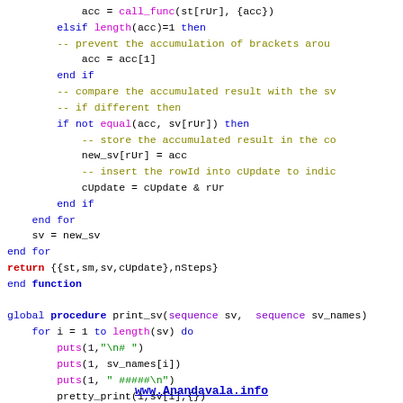Code listing showing Euphoria functions: call_func, length, equal, print_sv procedure, and return statements with syntax highlighting.
www.Anandavala.info